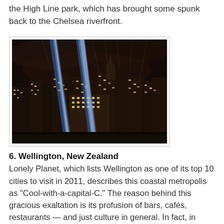the High Line park, which has brought some spunk back to the Chelsea riverfront.
[Figure (photo): Night skyline of New York City with two bright blue beams of light shooting upward (Tribute in Light), illuminating tall buildings and dark cloudy sky.]
6. Wellington, New Zealand
Lonely Planet, which lists Wellington as one of its top 10 cities to visit in 2011, describes this coastal metropolis as "Cool-with-a-capital-C." The reason behind this gracious exaltation is its profusion of bars, cafés, restaurants — and just culture in general. In fact, in recent years, the city has earned the nickname "Wellywood" because of its flourishing film industry. You're sure to recognize Wellington's stunning scenery in the upcoming movie, The Hobbit, which is currently being filmed here. Visit Wellington for its cultural